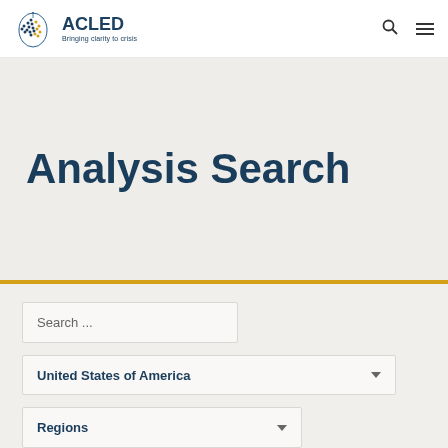ACLED — Bringing clarity to crisis (navigation header with logo, search icon, menu icon)
Analysis Search
Search ...
United States of America
Regions